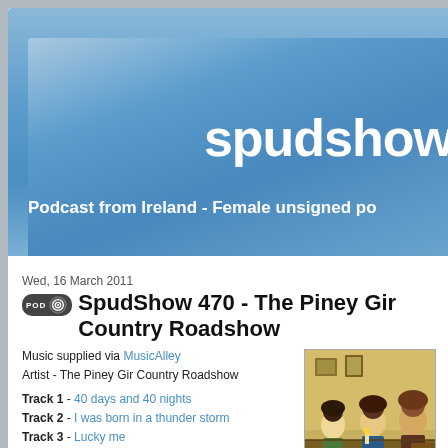spudshow
Podcast from Ireland - Female unsigned po
Wed, 16 March 2011
SpudShow 470 - The Piney Gir Country Roadshow
Music supplied via MusicAlley
Artist - The Piney Gir Country Roadshow
Track 1 - 40 days and 40 nights
Track 2 - I was born in a thunder storm
Track 3 - Lucky me
MainSite    MySpace
Get the music here
Bio:
[Figure (illustration): Illustrated artwork showing people in vintage style, warm yellow-green tones]